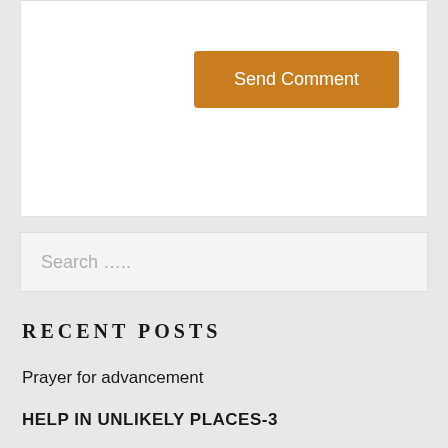[Figure (screenshot): Send Comment button on white background area, orange/brown colored button with white text]
Search .....
RECENT POSTS
Prayer for advancement
HELP IN UNLIKELY PLACES-3